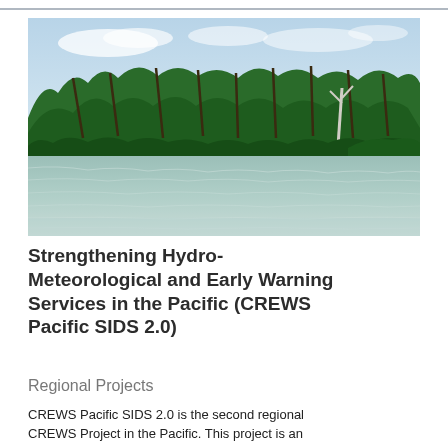[Figure (photo): Tropical river or lagoon landscape with lush palm trees and dense green vegetation lining the water's edge, calm aqua-green water in the foreground, light blue sky with thin clouds in the background.]
Strengthening Hydro-Meteorological and Early Warning Services in the Pacific (CREWS Pacific SIDS 2.0)
Regional Projects
CREWS Pacific SIDS 2.0 is the second regional CREWS Project in the Pacific. This project is an